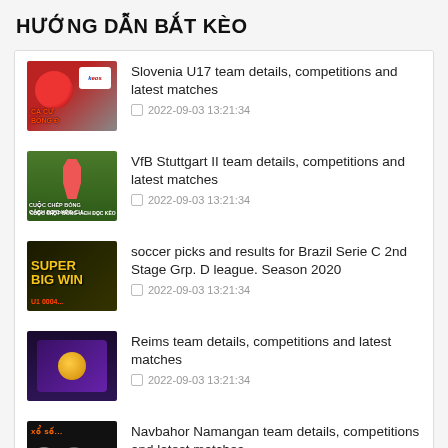HƯỚNG DẪN BẮT KÈO
Slovenia U17 team details, competitions and latest matches
VfB Stuttgart II team details, competitions and latest matches
soccer picks and results for Brazil Serie C 2nd Stage Grp. D league. Season 2020
Reims team details, competitions and latest matches
Navbahor Namangan team details, competitions and latest matches